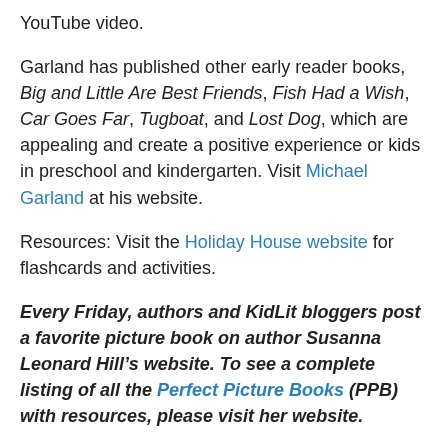YouTube video.
Garland has published other early reader books, Big and Little Are Best Friends, Fish Had a Wish, Car Goes Far, Tugboat, and Lost Dog, which are appealing and create a positive experience or kids in preschool and kindergarten. Visit Michael Garland at his website.
Resources: Visit the Holiday House website for flashcards and activities.
Every Friday, authors and KidLit bloggers post a favorite picture book on author Susanna Leonard Hill’s website. To see a complete listing of all the Perfect Picture Books (PPB) with resources, please visit her website.